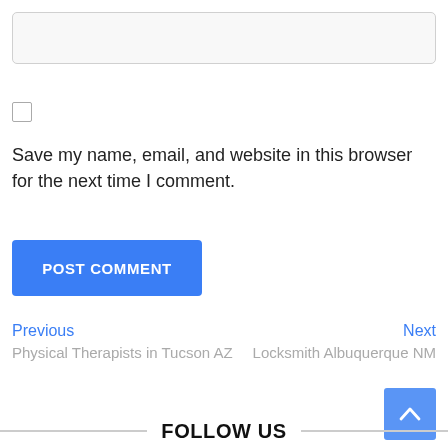[Figure (screenshot): Text input field (empty, rounded border, light gray background)]
[Figure (screenshot): Unchecked checkbox]
Save my name, email, and website in this browser for the next time I comment.
[Figure (other): POST COMMENT blue button]
Previous
Physical Therapists in Tucson AZ
Next
Locksmith Albuquerque NM
[Figure (other): Blue scroll-to-top button with upward chevron]
FOLLOW US